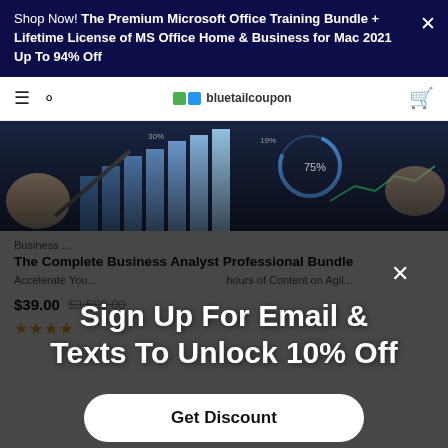Shop Now! The Premium Microsoft Office Training Bundle + Lifetime License of MS Office Home & Business for Mac 2021 Up To 94% Off
[Figure (screenshot): Website navigation bar with hamburger menu, search icon, bluetailcoupon logo, and cart icon]
[Figure (photo): Hero image showing hands with financial charts, bar graphs, and circular progress indicators on a dark background]
Sign Up For Email & Texts To Unlock 10% Off
Get Discount
Business ...
The Complete Business Analyst Professional Bundle
Accelerate You... hours of Content on Agil...
$39.00 $3,500.00